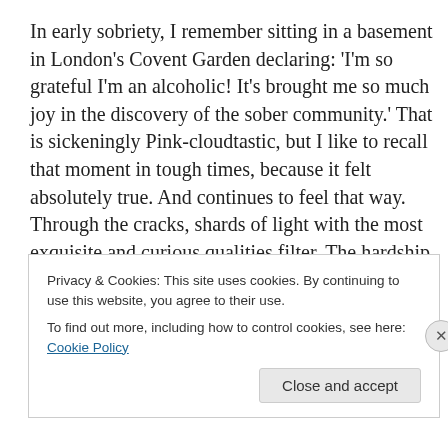In early sobriety, I remember sitting in a basement in London's Covent Garden declaring: 'I'm so grateful I'm an alcoholic! It's brought me so much joy in the discovery of the sober community.' That is sickeningly Pink-cloudtastic, but I like to recall that moment in tough times, because it felt absolutely true. And continues to feel that way. Through the cracks, shards of light with the most exquisite and curious qualities filter. The hardship has been necessary. I've been devouring inspirational memoirs ever since I put down the Merlot, and never has a wonderful
Privacy & Cookies: This site uses cookies. By continuing to use this website, you agree to their use.
To find out more, including how to control cookies, see here: Cookie Policy
Close and accept